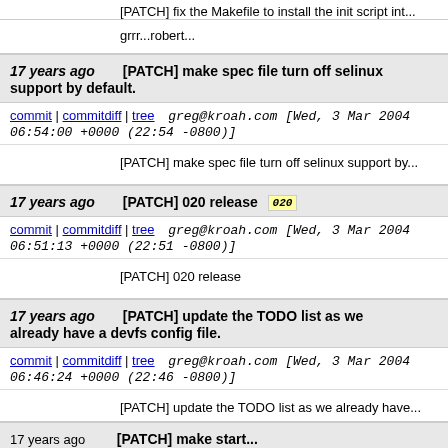[PATCH] fix the Makefile to install the init script int...
grrr...robert...
17 years ago   [PATCH] make spec file turn off selinux support by default.
commit | commitdiff | tree   greg@kroah.com [Wed, 3 Mar 2004 06:54:00 +0000 (22:54 -0800)]
[PATCH] make spec file turn off selinux support by...
17 years ago   [PATCH] 020 release  020
commit | commitdiff | tree   greg@kroah.com [Wed, 3 Mar 2004 06:51:13 +0000 (22:51 -0800)]
[PATCH] 020 release
17 years ago   [PATCH] update the TODO list as we already have a devfs config file.
commit | commitdiff | tree   greg@kroah.com [Wed, 3 Mar 2004 06:46:24 +0000 (22:46 -0800)]
[PATCH] update the TODO list as we already have...
17 years ago   [PATCH] make start...